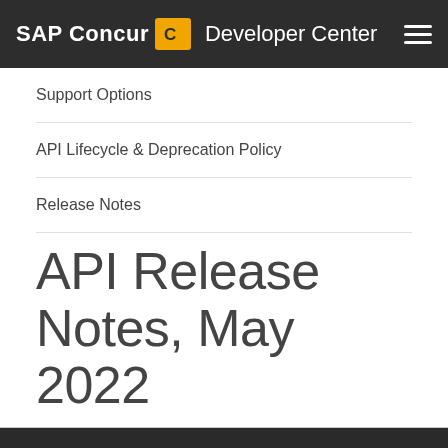SAP Concur | Developer Center
Support Options
API Lifecycle & Deprecation Policy
Release Notes
API Release Notes, May 2022
© 2022 All Rights Reserved. Privacy Policy | Terms of Use | API Deprecation Policy | Edit this page on GitHub